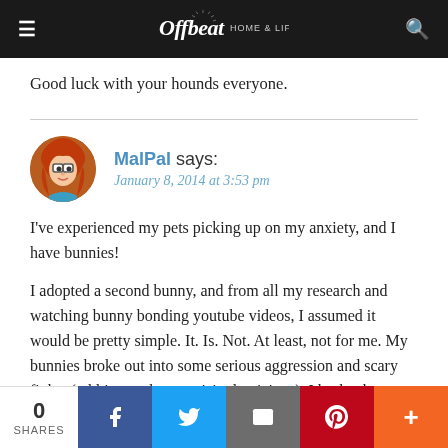Offbeat HOME & LIFE
Good luck with your hounds everyone.
MalPal says:
January 8, 2014 at 3:53 pm
I've experienced my pets picking up on my anxiety, and I have bunnies!
I adopted a second bunny, and from all my research and watching bunny bonding youtube videos, I assumed it would be pretty simple. It. Is. Not. At least, not for me. My bunnies broke out into some serious aggression and scary fights (rabbits can be surprisingly vicious). I broke them up
0 SHARES  [Facebook] [Twitter] [Email] [Pinterest] [More]